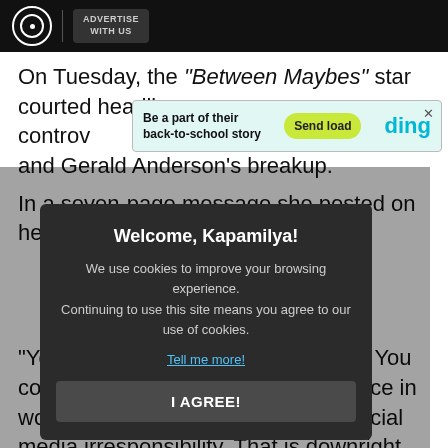ABS-CBN | ADVERTISE WITH US
On Tuesday, the "Between Maybes" star courted headlines by making a controversial statement about Bea Alonzo and Gerald Anderson's breakup.
[Figure (other): Advertisement banner: 'Be a part of their back-to-school story' with Send load button and ding logo]
In a seven-page message she posted on her Instagram page, Julia addressed the 'trolls and supporters' and encouraging her followers to stop liking social media posts that attack or are against Julia and Gerald.
"You are a witness and an unwilling follower. You could have done this with so much compassion, strength and grace in words. Instead, you allowed your platform to promote social media irresponsibility. That is downright bullying," she said.
[Figure (other): Cookie consent modal: 'Welcome, Kapamilya!' with cookie usage notice, Tell me more link, and I AGREE button]